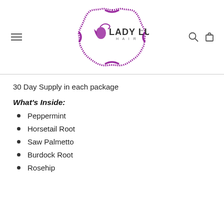[Figure (logo): Lady Lux Hair logo in purple decorative frame with rhinestone border]
30 Day Supply in each package
What's Inside:
Peppermint
Horsetail Root
Saw Palmetto
Burdock Root
Rosehip